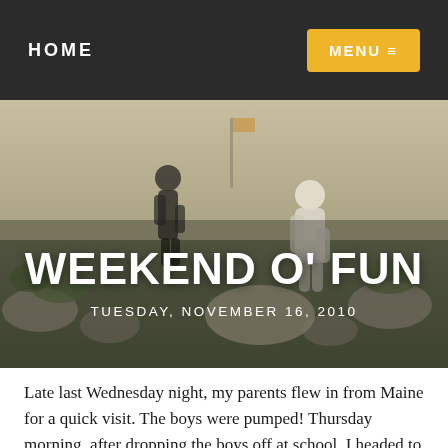HOME   MENU
[Figure (photo): Outdoor scene with children playing among rocks and landscaping, shown in muted/desaturated tones]
WEEKEND O' FUN
TUESDAY, NOVEMBER 16, 2010
Late last Wednesday night, my parents flew in from Maine for a quick visit. The boys were pumped! Thursday morning, after dropping the boys off at school, I headed to the hotel my parents were staying at and picked them up. We ran a bunch of errands together (including hitting half-price day at a kids consignment sale), had lunch